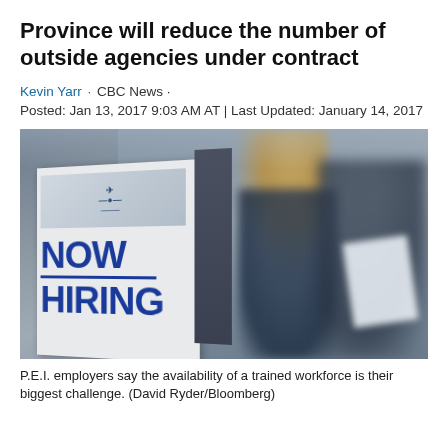Province will reduce the number of outside agencies under contract
Kevin Yarr · CBC News · Posted: Jan 13, 2017 9:03 AM AT | Last Updated: January 14, 2017
[Figure (photo): A 'NOW HIRING' sign in the foreground with two blurred people in the background at what appears to be a job fair or employment event.]
P.E.I. employers say the availability of a trained workforce is their biggest challenge. (David Ryder/Bloomberg)